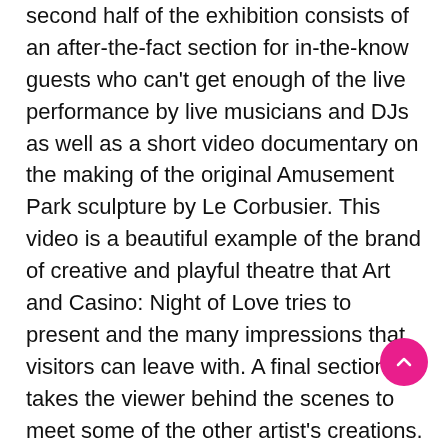second half of the exhibition consists of an after-the-fact section for in-the-know guests who can't get enough of the live performance by live musicians and DJs as well as a short video documentary on the making of the original Amusement Park sculpture by Le Corbusier. This video is a beautiful example of the brand of creative and playful theatre that Art and Casino: Night of Love tries to present and the many impressions that visitors can leave with. A final section takes the viewer behind the scenes to meet some of the other artist's creations.
Whilst at first glance it would be hard to take Art and Casino: Play Book of Dead – Casumo Casino as a stand-alone exhibit, this is a misconception that soon dispelled when the visitor reaches the real world and real Amusement Park this three-part exhibition not only has casino displays but it also offers a glimpse into the creative and humorous side of life